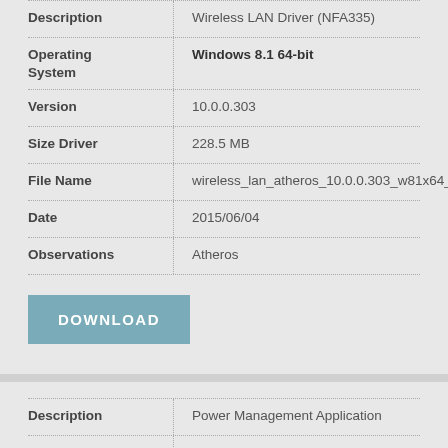| Field | Value |
| --- | --- |
| Description | Wireless LAN Driver (NFA335) |
| Operating System | Windows 8.1 64-bit |
| Version | 10.0.0.303 |
| Size Driver | 228.5 MB |
| File Name | wireless_lan_atheros_10.0.0.303_w81x64_a.zip |
| Date | 2015/06/04 |
| Observations | Atheros |
DOWNLOAD
| Field | Value |
| --- | --- |
| Description | Power Management Application |
| Operating System | Windows 8.1 64-bit |
| Version | 7.00.8108 |
| Size Driver | 27.7 MB |